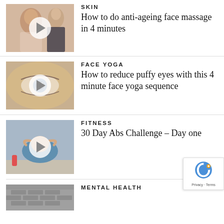[Figure (photo): Thumbnail with play button: Two women – one touching face, one standing – related to anti-ageing face massage]
SKIN
How to do anti-ageing face massage in 4 minutes
[Figure (photo): Thumbnail with play button: Close-up of an eye, related to face yoga for puffy eyes]
FACE YOGA
How to reduce puffy eyes with this 4 minute face yoga sequence
[Figure (photo): Thumbnail with play button: Woman doing abs exercise, related to 30 Day Abs Challenge]
FITNESS
30 Day Abs Challenge – Day one
[Figure (photo): Thumbnail partially visible: Mental health related image (brick wall)]
MENTAL HEALTH